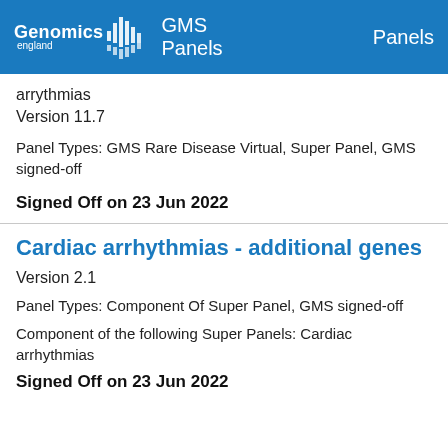Genomics England | GMS Panels | Panels
arrythmias
Version 11.7

Panel Types: GMS Rare Disease Virtual, Super Panel, GMS signed-off

Signed Off on 23 Jun 2022
Cardiac arrhythmias - additional genes
Version 2.1
Panel Types: Component Of Super Panel, GMS signed-off
Component of the following Super Panels: Cardiac arrhythmias
Signed Off on 23 Jun 2022